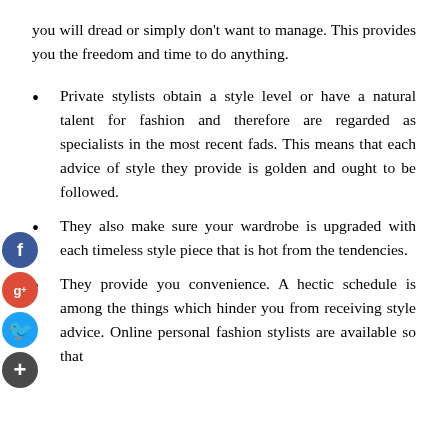you will dread or simply don't want to manage. This provides you the freedom and time to do anything.
Private stylists obtain a style level or have a natural talent for fashion and therefore are regarded as specialists in the most recent fads. This means that each advice of style they provide is golden and ought to be followed.
They also make sure your wardrobe is upgraded with each timeless style piece that is hot from the tendencies.
They provide you convenience. A hectic schedule is among the things which hinder you from receiving style advice. Online personal fashion stylists are available so that